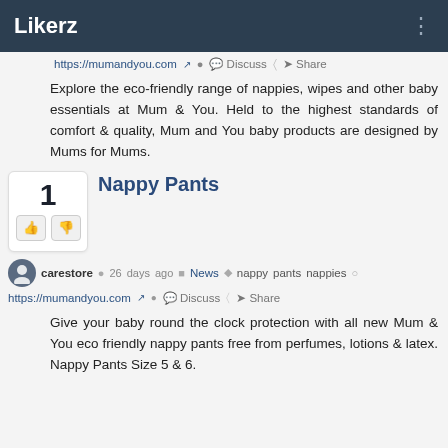Likerz
https://mumandyou.com  Discuss  Share
Explore the eco-friendly range of nappies, wipes and other baby essentials at Mum & You. Held to the highest standards of comfort & quality, Mum and You baby products are designed by Mums for Mums.
Nappy Pants
carestore  26 days ago  News  nappy  pants  nappies
https://mumandyou.com  Discuss  Share
Give your baby round the clock protection with all new Mum & You eco friendly nappy pants free from perfumes, lotions & latex. Nappy Pants Size 5 & 6.